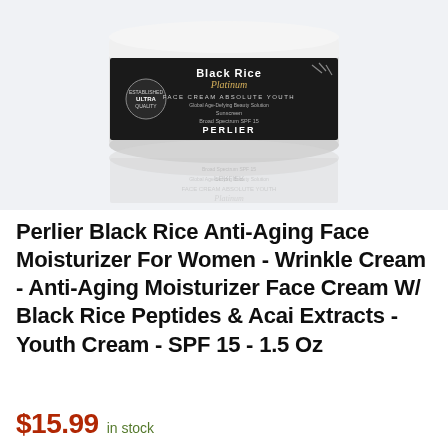[Figure (photo): Perlier Black Rice Platinum face cream jar with black label showing product name and SPF 15 sunscreen information, with reflection below on light gray background.]
Perlier Black Rice Anti-Aging Face Moisturizer For Women - Wrinkle Cream - Anti-Aging Moisturizer Face Cream W/ Black Rice Peptides & Acai Extracts - Youth Cream - SPF 15 - 1.5 Oz
$15.99 in stock